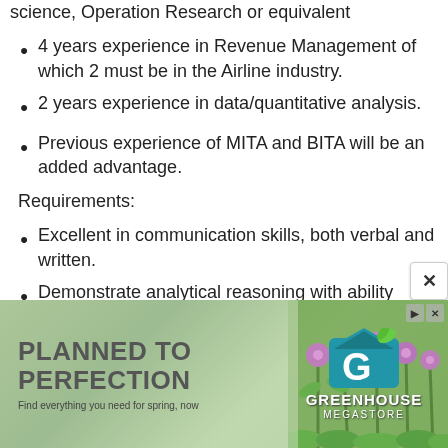science, Operation Research or equivalent
4 years experience in Revenue Management of which 2 must be in the Airline industry.
2 years experience in data/quantitative analysis.
Previous experience of MITA and BITA will be an added advantage.
Requirements:
Excellent in communication skills, both verbal and written.
Demonstrate analytical reasoning with ability
[Figure (photo): Advertisement banner for Greenhouse Megastore showing flowers background with text 'PLANNED TO PERFECTION' and 'Find everything you need for spring, now' along with the Greenhouse Megastore logo]